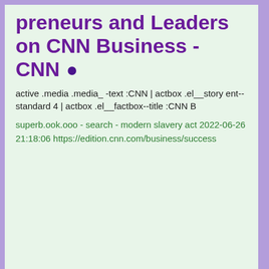preneurs and Leaders on CNN Business - CNN •
active .media .media_ -text :CNN | actbox .el__story ent--standard 4 | actbox .el__factbox--title :CNN B
superb.ook.ooo - search - modern slavery act 2022-06-26 21:18:06 https://edition.cnn.com/business/success
Superb.ook.ooo-5 >
The Economist •
acy PolicyManage AccessibilityModern | Slavery
superb.ook.ooo - search - modern slavery act 2022-06-26 21:18:06 https://id.economist.com/login.html?state=state-0763cab4f2339d11a3db08e210336f8e&fcxAuth=true&site=http